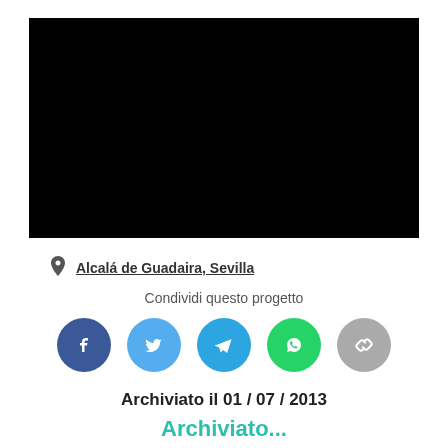[Figure (photo): Black/dark image area at the top of the page]
Alcalá de Guadaira, Sevilla
Condividi questo progetto
[Figure (infographic): Social sharing icons: Facebook (blue), Twitter (light blue), Telegram (blue), WhatsApp (green), Link/copy (grey)]
Archiviato il 01 / 07 / 2013
Archiviato...